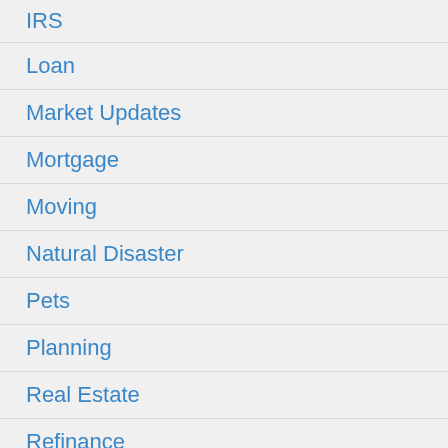IRS
Loan
Market Updates
Mortgage
Moving
Natural Disaster
Pets
Planning
Real Estate
Refinance
Renovation
Resale
Retirement
Roof
Seller